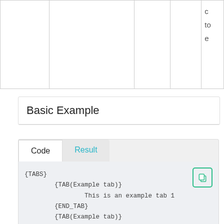|  |  |  |  | c
to
e |
Basic Example
Code | Result (tabs)
{TABS}
    {TAB(Example tab)}
            This is an example tab 1
    {END_TAB}
    {TAB(Example tab)}
            This is an example tab 2
    {END_TAB}
    {TAB(Example tab)}
            This is an example tab 3
    {END_TAB}